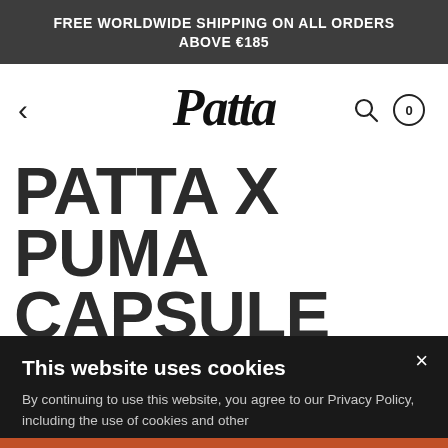FREE WORLDWIDE SHIPPING ON ALL ORDERS ABOVE €185
[Figure (logo): Patta script logo in black]
PATTA X PUMA CAPSULE COLLECTION
This website uses cookies
By continuing to use this website, you agree to our Privacy Policy, including the use of cookies and other tracking technologies. We also collect...